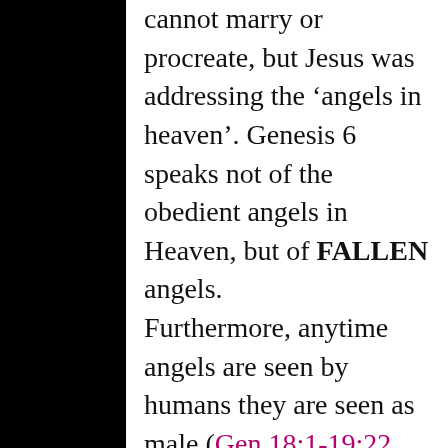cannot marry or procreate, but Jesus was addressing the ‘angels in heaven’. Genesis 6 speaks not of the obedient angels in Heaven, but of FALLEN angels.

Furthermore, anytime angels are seen by humans they are seen as male (Gen 18:1-19:22, Mark